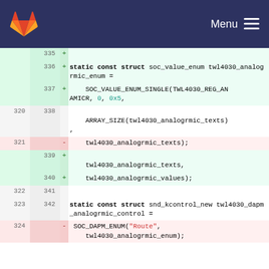GitLab Menu
[Figure (screenshot): Git diff view showing code changes to soc_value_enum and snd_kcontrol_new structs in a kernel audio driver file. Lines 335-342 show additions (green) and lines 320-324 show mixed neutral/removed/added lines.]
335  +
336  + static const struct soc_value_enum twl4030_analogrmic_enum =
337  +  SOC_VALUE_ENUM_SINGLE(TWL4030_REG_ANAMICR, 0, 0x5,
320 338   ARRAY_SIZE(twl4030_analogrmic_texts),
321    -  twl4030_analogrmic_texts);
   339 +  twl4030_analogrmic_texts,
   340 +  twl4030_analogrmic_values);
322 341
323 342  static const struct snd_kcontrol_new twl4030_dapm_analogrmic_control =
324    - SOC_DAPM_ENUM("Route", twl4030_analogrmic_enum);